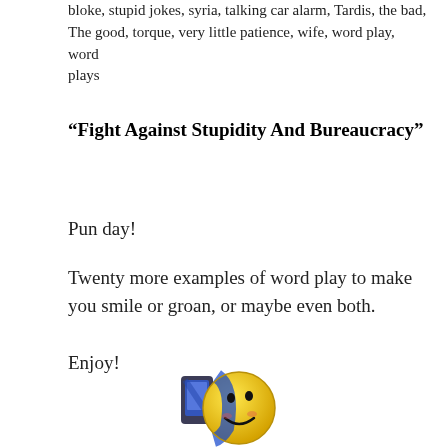bloke, stupid jokes, syria, talking car alarm, Tardis, the bad, The good, torque, very little patience, wife, word play, word plays
“Fight Against Stupidity And Bureaucracy”
Pun day!
Twenty more examples of word play to make you smile or groan, or maybe even both.
Enjoy!
[Figure (illustration): A cartoon smiley face emoji illustration, yellow and blue colored, resembling a bee or laughing face emoji with blue and yellow pattern.]